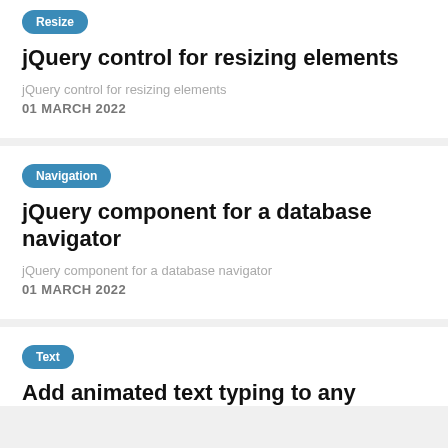Resize
jQuery control for resizing elements
jQuery control for resizing elements
01 MARCH 2022
Navigation
jQuery component for a database navigator
jQuery component for a database navigator
01 MARCH 2022
Text
Add animated text typing to any